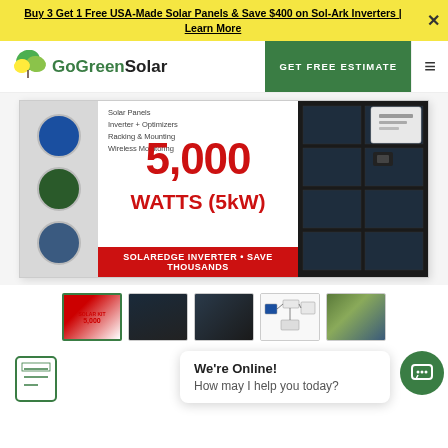Buy 3 Get 1 Free USA-Made Solar Panels & Save $400 on Sol-Ark Inverters | Learn More
[Figure (logo): GoGreenSolar logo with green leaf icon and company name]
GET FREE ESTIMATE
[Figure (photo): 5,000 WATTS (5kW) Solar Kit box showing Solar Panels, Inverter + Optimizers, Racking & Mounting, Wireless Monitoring. SolarEdge Inverter - Save Thousands.]
[Figure (photo): Thumbnail 1: Solar kit box product image (active/selected)]
[Figure (photo): Thumbnail 2: Solar panels close-up]
[Figure (photo): Thumbnail 3: Solar panels installation]
[Figure (schematic): Thumbnail 4: Diagram/schematic of solar system components]
[Figure (photo): Thumbnail 5: Aerial view of solar panels on roof]
We're Online!
How may I help you today?
[Figure (illustration): Bottom-left icon: blueprint/document illustration with green border]
[Figure (illustration): Chat button: green circle with chat icon]